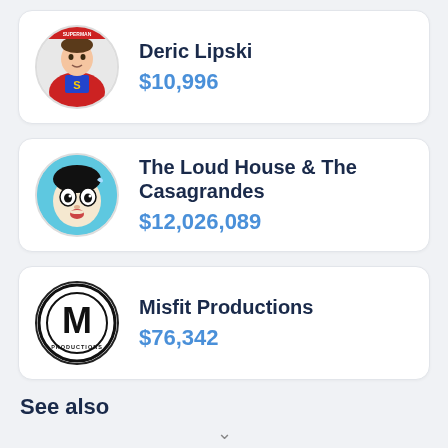Deric Lipski $10,996
The Loud House & The Casagrandes $12,026,089
Misfit Productions $76,342
See also